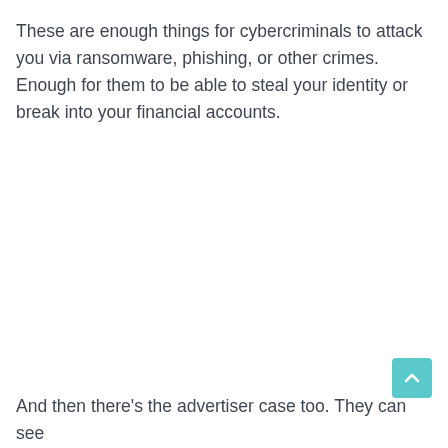These are enough things for cybercriminals to attack you via ransomware, phishing, or other crimes. Enough for them to be able to steal your identity or break into your financial accounts.
And then there's the advertiser case too. They can see